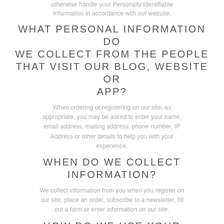otherwise handle your Personally Identifiable Information in accordance with our website.
WHAT PERSONAL INFORMATION DO WE COLLECT FROM THE PEOPLE THAT VISIT OUR BLOG, WEBSITE OR APP?
When ordering or registering on our site, as appropriate, you may be asked to enter your name, email address, mailing address, phone number, IP Address or other details to help you with your experience.
WHEN DO WE COLLECT INFORMATION?
We collect information from you when you register on our site, place an order, subscribe to a newsletter, fill out a form or enter information on our site.
HOW DO WE USE YOUR